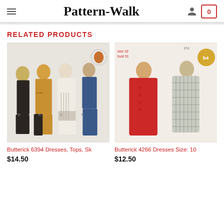Pattern-Walk
RELATED PRODUCTS
[Figure (photo): Butterick 6394 sewing pattern showing women in dresses, tops and skirts – multiple views including black, yellow/gold, white and blue outfits]
Butterick 6394 Dresses, Tops, Sk
$14.50
[Figure (photo): Butterick 4266 vintage sewing pattern showing two women in sleeveless shift dresses, one in red and one in plaid, Size 10, Bust 31]
Butterick 4266 Dresses Size: 10
$12.50